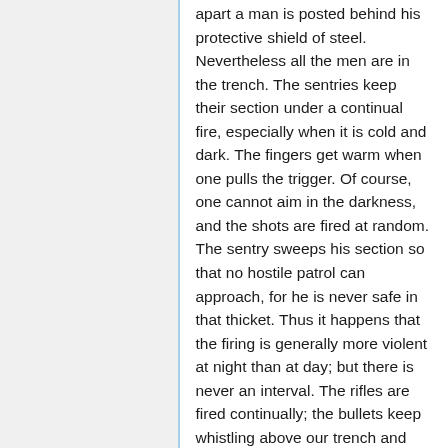apart a man is posted behind his protective shield of steel. Nevertheless all the men are in the trench. The sentries keep their section under a continual fire, especially when it is cold and dark. The fingers get warm when one pulls the trigger. Of course, one cannot aim in the darkness, and the shots are fired at random. The sentry sweeps his section so that no hostile patrol can approach, for he is never safe in that thicket. Thus it happens that the firing is generally more violent at night than at day; but there is never an interval. The rifles are fired continually; the bullets keep whistling above our trench and patter against the branches. The mines, too, come flying over at night, dropping at a high angle. Everybody knows the scarcely audible